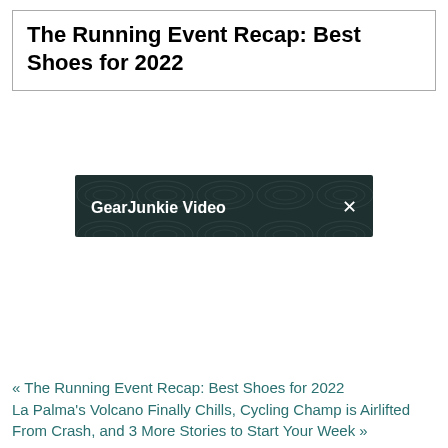The Running Event Recap: Best Shoes for 2022
[Figure (screenshot): GearJunkie Video widget — dark banner with topographic map pattern, showing label 'GearJunkie Video' on the left and a close button '×' on the right]
« The Running Event Recap: Best Shoes for 2022
La Palma's Volcano Finally Chills, Cycling Champ is Airlifted From Crash, and 3 More Stories to Start Your Week »